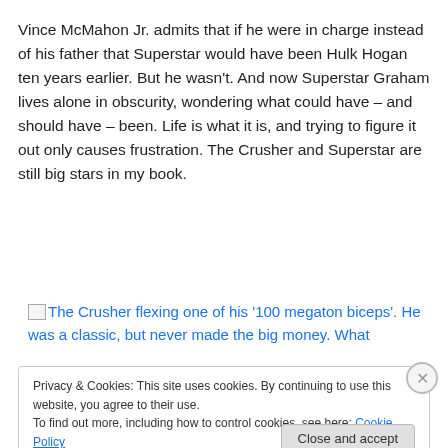Vince McMahon Jr. admits that if he were in charge instead of his father that Superstar would have been Hulk Hogan ten years earlier. But he wasn't. And now Superstar Graham lives alone in obscurity, wondering what could have – and should have – been. Life is what it is, and trying to figure it out only causes frustration. The Crusher and Superstar are still big stars in my book.
[Figure (other): Broken image link showing alt text: The Crusher flexing one of his '100 megaton biceps'. He was a classic, but never made the big money. What]
Privacy & Cookies: This site uses cookies. By continuing to use this website, you agree to their use.
To find out more, including how to control cookies, see here: Cookie Policy